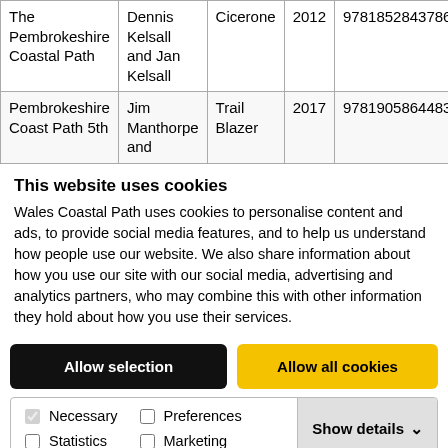| Title | Author | Publisher | Year | ISBN |
| --- | --- | --- | --- | --- |
| The Pembrokeshire Coastal Path | Dennis Kelsall and Jan Kelsall | Cicerone | 2012 | 9781852843786 |
| Pembrokeshire Coast Path 5th | Jim Manthorpe and | Trail Blazer | 2017 | 9781905864483 |
This website uses cookies
Wales Coastal Path uses cookies to personalise content and ads, to provide social media features, and to help us understand how people use our website. We also share information about how you use our site with our social media, advertising and analytics partners, who may combine this with other information they hold about how you use their services.